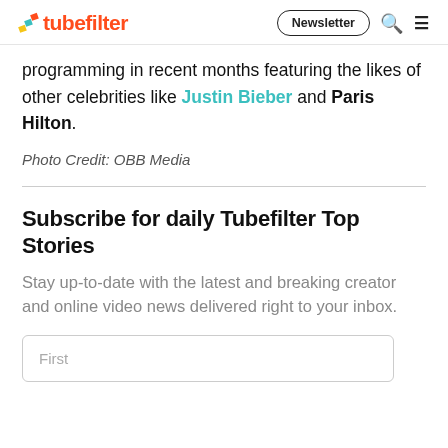tubefilter | Newsletter
programming in recent months featuring the likes of other celebrities like Justin Bieber and Paris Hilton.
Photo Credit: OBB Media
Subscribe for daily Tubefilter Top Stories
Stay up-to-date with the latest and breaking creator and online video news delivered right to your inbox.
First